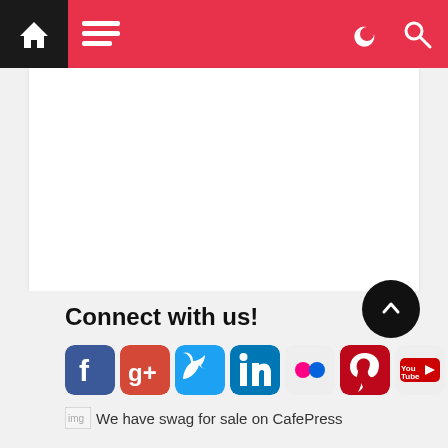[Figure (screenshot): Mobile website navigation bar with home icon on black background, hamburger menu icon on red background, and moon/search icons on the right side of the red bar]
[Figure (other): Large white advertisement/content area below the navigation bar]
Connect with us!
[Figure (other): Row of social media icons: Facebook, Google+, Twitter, LinkedIn, Flickr, Pinterest, YouTube, Weebly]
We have swag for sale on CafePress